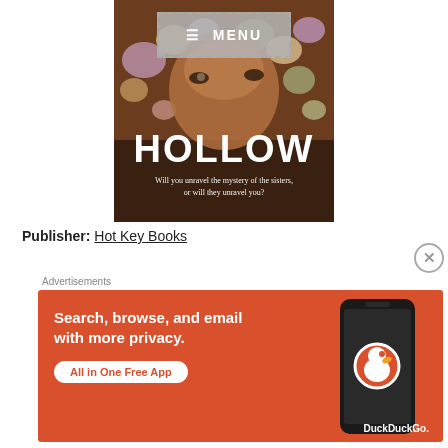[Figure (illustration): Book cover for 'Hollow' showing a face partially obscured by flowers, with text 'HOLLOW' in large white letters and subtitle 'Will you unravel the mystery of the sisters, or will they unravel you?' A menu button overlay is shown at the top.]
Publisher: Hot Key Books
[Figure (infographic): DuckDuckGo advertisement banner on orange background: 'Search, browse, and email with more privacy. All in One Free App' with DuckDuckGo logo and phone image.]